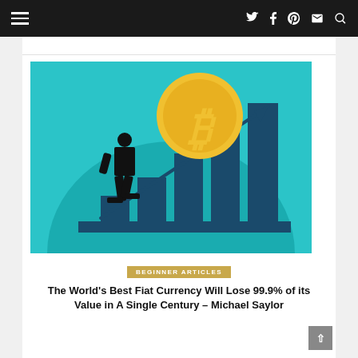≡  🐦 f 𝙥 ✉ 🔍
[Figure (illustration): Illustration of a man in a suit walking toward a bar chart with an upward arrow trend line, and a large gold Bitcoin coin floating in the upper center. Teal/cyan background with dark teal bar chart bars.]
BEGINNER ARTICLES
The World's Best Fiat Currency Will Lose 99.9% of its Value in A Single Century – Michael Saylor